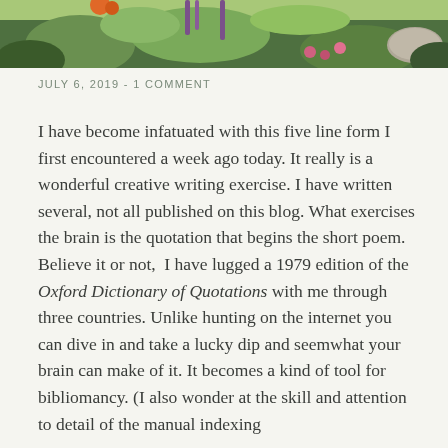[Figure (photo): A garden photo showing green plants, flowers including orange and pink blooms, and foliage against a bright background. Only the bottom portion of the image is visible as a strip at the top of the page.]
JULY 6, 2019  -  1 COMMENT
I have become infatuated with this five line form I first encountered a week ago today. It really is a wonderful creative writing exercise. I have written several, not all published on this blog. What exercises the brain is the quotation that begins the short poem. Believe it or not,  I have lugged a 1979 edition of the Oxford Dictionary of Quotations with me through three countries. Unlike hunting on the internet you can dive in and take a lucky dip and seemwhat your brain can make of it. It becomes a kind of tool for bibliomancy. (I also wonder at the skill and attention to detail of the manual indexing